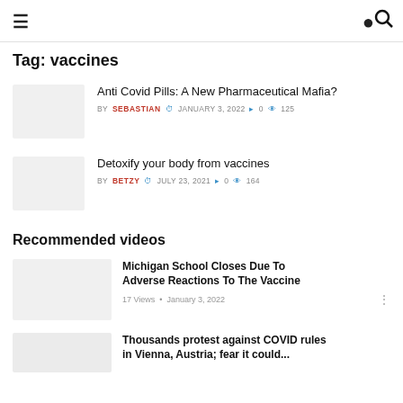≡  🔍
Tag: vaccines
Anti Covid Pills: A New Pharmaceutical Mafia?
BY SEBASTIAN  🕐 JANUARY 3, 2022  💬 0  👁 125
Detoxify your body from vaccines
BY BETZY  🕐 JULY 23, 2021  💬 0  👁 164
Recommended videos
Michigan School Closes Due To Adverse Reactions To The Vaccine
17 Views  •  January 3, 2022
Thousands protest against COVID rules in Vienna, Austria; fear it could...